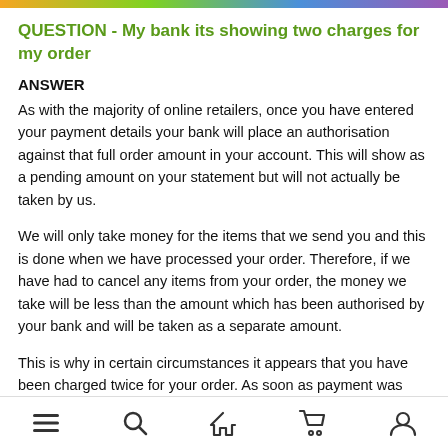QUESTION - My bank its showing two charges for my order
ANSWER
As with the majority of online retailers, once you have entered your payment details your bank will place an authorisation against that full order amount in your account. This will show as a pending amount on your statement but will not actually be taken by us.
We will only take money for the items that we send you and this is done when we have processed your order. Therefore, if we have had to cancel any items from your order, the money we take will be less than the amount which has been authorised by your bank and will be taken as a separate amount.
This is why in certain circumstances it appears that you have been charged twice for your order. As soon as payment was